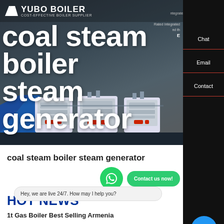YUBO BOILER — COST-EFFECTIVE BOILER SUPPLIER
coal steam boiler steam generator
[Figure (screenshot): Hero banner with industrial coal steam boilers/steam generators in a dark industrial setting]
coal steam boiler steam generator
Contact us now!
HOT NEWS
Hey, we are live 24/7. How may I help you?
1t Gas Boiler Best Selling Armenia